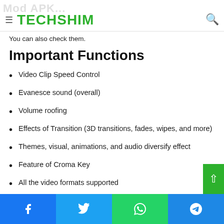TECHSHIM
Some of the most important functions we have written below. You can also check them.
Important Functions
Video Clip Speed Control
Evanesce sound (overall)
Volume roofing
Effects of Transition (3D transitions, fades, wipes, and more)
Themes, visual, animations, and audio diversify effect
Feature of Croma Key
All the video formats supported
Facebook | Twitter | WhatsApp | Telegram